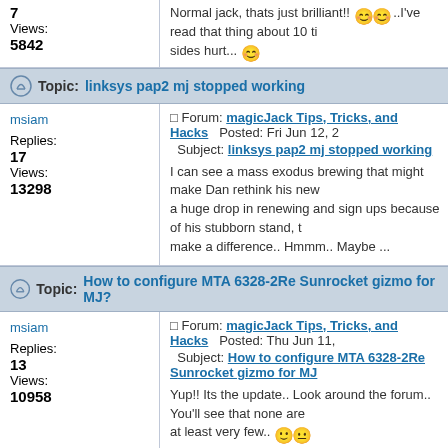7 Views: 5842 — Normal jack, thats just brilliant!! ..I've read that thing about 10 ti sides hurt...
Topic: linksys pap2 mj stopped working
msiam — Forum: magicJack Tips, Tricks, and Hacks — Posted: Fri Jun 12, 2... Subject: linksys pap2 mj stopped working
Replies: 17 Views: 13298
I can see a mass exodus brewing that might make Dan rethink his new... a huge drop in renewing and sign ups because of his stubborn stand, t make a difference.. Hmmm.. Maybe ...
Topic: How to configure MTA 6328-2Re Sunrocket gizmo for MJ?
msiam — Forum: magicJack Tips, Tricks, and Hacks — Posted: Thu Jun 11,... Subject: How to configure MTA 6328-2Re Sunrocket gizmo for MJ
Replies: 13 Views: 10958
Yup!! Its the update.. Look around the forum.. You'll see that none are ... at least very few..
Topic: Scratch Pad
msiam — Forum: Features coming to Magic Jack — Posted: Thu Jun 11, 200... Subject: Scratch Pad
Replies: